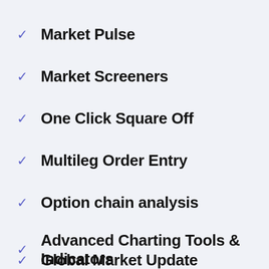Market Pulse
Market Screeners
One Click Square Off
Multileg Order Entry
Option chain analysis
Advanced Charting Tools & Indicators
Global Market Update